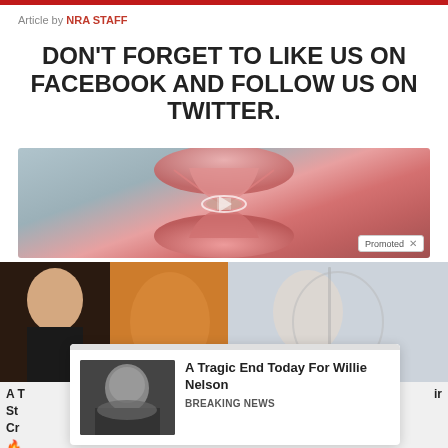Article by NRA STAFF
DON'T FORGET TO LIKE US ON FACEBOOK AND FOLLOW US ON TWITTER.
[Figure (photo): Medical illustration of a pink hourglass-shaped organ against a gray background, with a 'Promoted X' badge in the lower right corner]
[Figure (photo): Two thumbnail images side by side: left shows a woman and orange spice/powder, right shows a woman looking in a mirror]
[Figure (photo): Popup card showing an elderly man (Willie Nelson) with text 'A Tragic End Today For Willie Nelson' and 'Breaking News']
A Tragic End Today For Willie Nelson
Breaking News